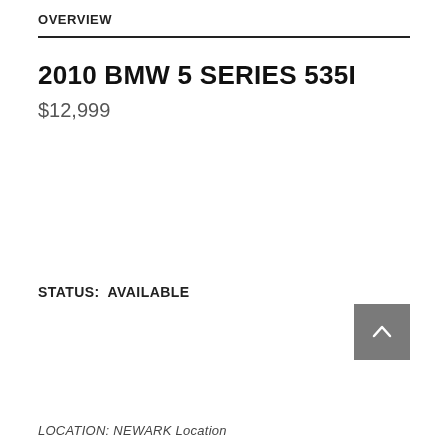OVERVIEW
2010 BMW 5 SERIES 535I
$12,999
STATUS:  AVAILABLE
LOCATION: NEWARK Location